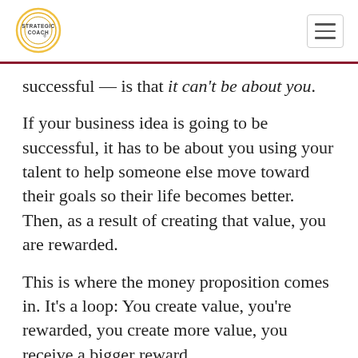Strategic Coach logo and navigation
successful — is that it can't be about you.
If your business idea is going to be successful, it has to be about you using your talent to help someone else move toward their goals so their life becomes better. Then, as a result of creating that value, you are rewarded.
This is where the money proposition comes in. It's a loop: You create value, you're rewarded, you create more value, you receive a bigger reward.